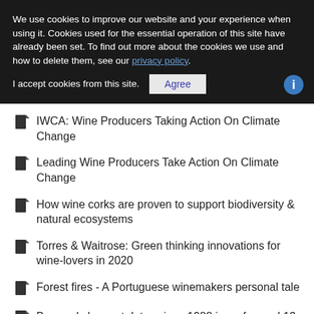We use cookies to improve our website and your experience when using it. Cookies used for the essential operation of this site have already been set. To find out more about the cookies we use and how to delete them, see our privacy policy.
I accept cookies from this site. [Agree button]
IWCA: Wine Producers Taking Action On Climate Change
Leading Wine Producers Take Action On Climate Change
How wine corks are proven to support biodiversity & natural ecosystems
Torres & Waitrose: Green thinking innovations for wine-lovers in 2020
Forest fires - A Portuguese winemakers personal tale
Burgundy harvest dates since 1988 jump forward 13 days compared to past 664 years
New fogging tech can protect vines from frost & heat stress
WE SUPPORT: